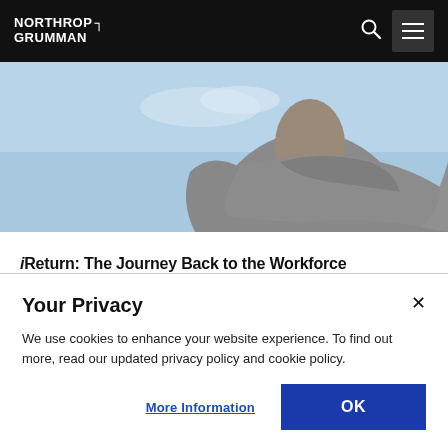[Figure (logo): Northrop Grumman logo in white text on black navigation bar with search icon and hamburger menu]
[Figure (photo): Hero photo of a woman in a grey long-sleeve top against a blue sky background, shown from waist up with hands on hips]
iReturn: The Journey Back to the Workforce
Learn more
Your Privacy
We use cookies to enhance your website experience. To find out more, read our updated privacy policy and cookie policy.
More Information
OK